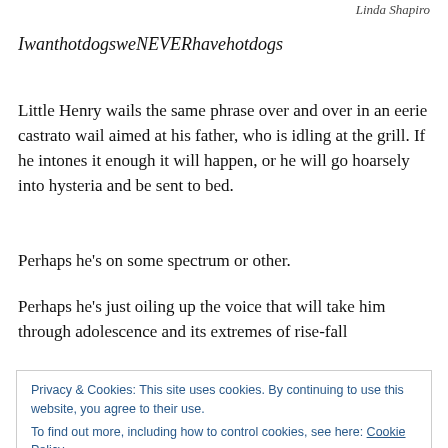Linda Shapiro
IwanthotdogsweNEVERhavehotdogs
Little Henry wails the same phrase over and over in an eerie castrato wail aimed at his father, who is idling at the grill. If he intones it enough it will happen, or he will go hoarsely into hysteria and be sent to bed.
Perhaps he's on some spectrum or other.
Perhaps he's just oiling up the voice that will take him through adolescence and its extremes of rise-fall
Privacy & Cookies: This site uses cookies. By continuing to use this website, you agree to their use.
To find out more, including how to control cookies, see here: Cookie Policy
the childless can, in search of negative space where each